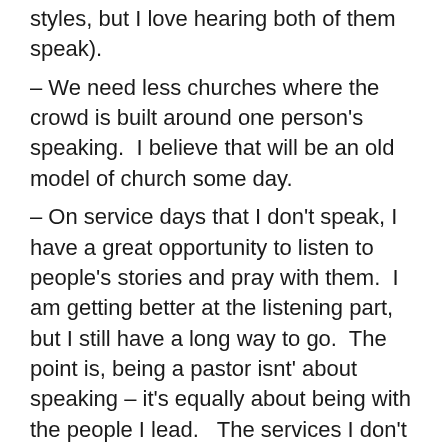styles, but I love hearing both of them speak).
– We need less churches where the crowd is built around one person's speaking.  I believe that will be an old model of church some day.
– On service days that I don't speak, I have a great opportunity to listen to people's stories and pray with them.  I am getting better at the listening part, but I still have a long way to go.  The point is, being a pastor isnt' about speaking – it's equally about being with the people I lead.   The services I don't speak allow me to connect better.
– On Wednesdays I don't speak, I can fit in